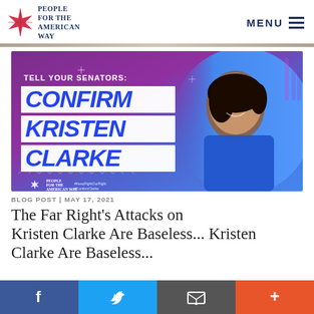People For the American Way | MENU
[Figure (photo): Promotional graphic with purple-to-blue gradient background. Text reads 'TELL YOUR SENATORS: CONFIRM KRISTEN CLARKE' with a photo of Kristen Clarke smiling, wearing a blue jacket. People For the American Way logo at bottom left with hashtags #KeepFightOurRight #ConfirmClarke.]
BLOG POST | MAY 17, 2021
The Far Right's Attacks on Kristen Clarke Are Baseless...